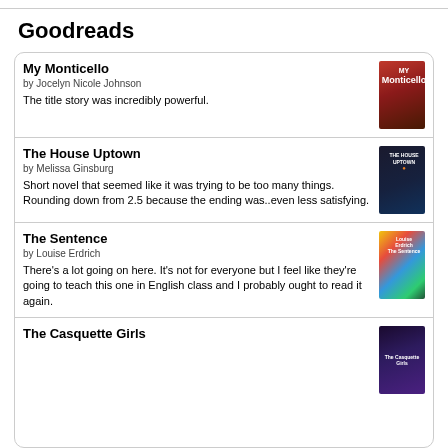Goodreads
My Monticello
by Jocelyn Nicole Johnson
The title story was incredibly powerful.
The House Uptown
by Melissa Ginsburg
Short novel that seemed like it was trying to be too many things. Rounding down from 2.5 because the ending was..even less satisfying.
The Sentence
by Louise Erdrich
There's a lot going on here. It's not for everyone but I feel like they're going to teach this one in English class and I probably ought to read it again.
The Casquette Girls